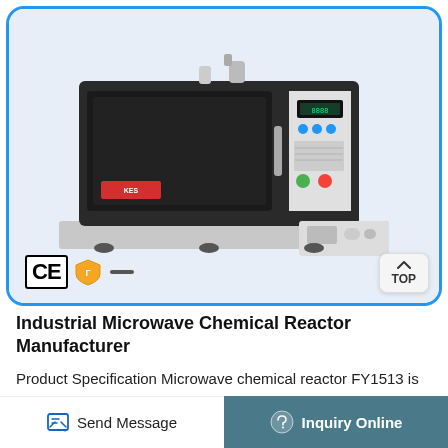[Figure (photo): Industrial Microwave Chemical Reactor FY1513 product photo showing a microwave-style unit with black front panel, digital display, control buttons, and side controls. CE and shield certification badges shown at bottom left. Blue rounded border frame around product image.]
Industrial Microwave Chemical Reactor Manufacturer
Product Specification Microwave chemical reactor FY1513 is standard catalytic reactor for lab use, which can be applied to chemical multi-phase
Send Message  |  Inquiry Online